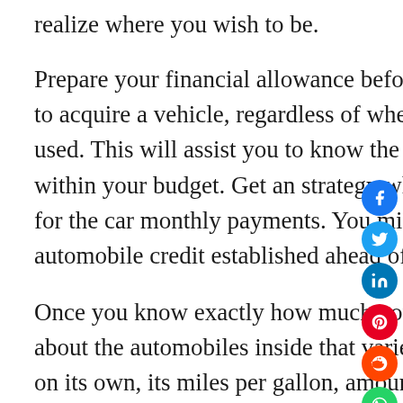realize where you wish to be.
Prepare your financial allowance before going out and trying to acquire a vehicle, regardless of whether it can be new or used. This will assist you to know the amount of a settlement within your budget. Get an strategy whatever you can afford for the car monthly payments. You might like to get automobile credit established ahead of basically buying.
Once you know exactly how much you need to invest, find out about the automobiles inside that variety. Learn about the auto on its own, its miles per gallon, amount of doorways, trunk